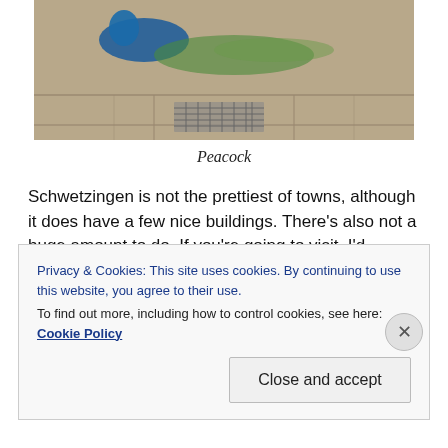[Figure (photo): Photograph of a peacock standing on stone paving tiles, partially cropped at top. The bird shows blue/green plumage. Only the lower portion of the image is visible.]
Peacock
Schwetzingen is not the prettiest of towns, although it does have a few nice buildings. There's also not a huge amount to do. If you're going to visit, I'd recommend doing so in summer when you can take a proper long
Privacy & Cookies: This site uses cookies. By continuing to use this website, you agree to their use.
To find out more, including how to control cookies, see here: Cookie Policy
Close and accept